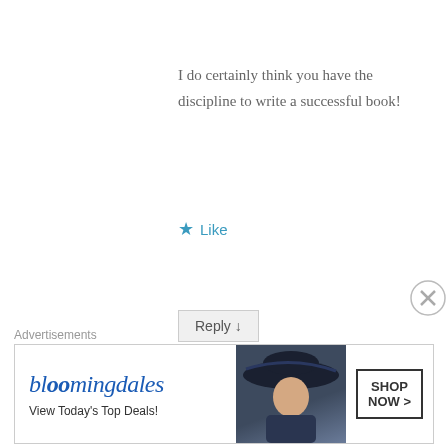I do certainly think you have the discipline to write a successful book!
Like
Reply ↓
Mabel Kwong
on 17 July 2014 at 10:52 PM said:
[Figure (photo): Avatar photo of Mabel Kwong, circular profile picture]
Overwhelmed. I am glad you used that word. Sums up what being stressed is about. You're right. A lot of the time work gets in the way of life and what we really want to do. And as
Advertisements
[Figure (other): Bloomingdales advertisement banner with model wearing hat. Text: bloomingdales, View Today's Top Deals!, SHOP NOW >]